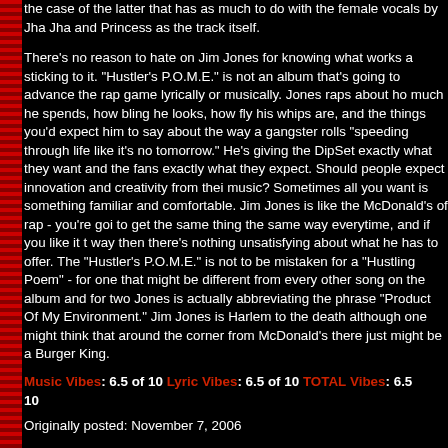the case of the latter that has as much to do with the female vocals by Jha Jha and Princess as the track itself.
There's no reason to hate on Jim Jones for knowing what works and sticking to it. "Hustler's P.O.M.E." is not an album that's going to advance the rap game lyrically or musically. Jones raps about how much he spends, how bling he looks, how fly his whips are, and all the things you'd expect him to say about the way a gangster rolls, "speeding through life like it's no tomorrow." He's giving the DipSet exactly what they want and the fans exactly what they expect. Should people expect innovation and creativity from their music? Sometimes all you want is something familiar and comfortable. Jim Jones is like the McDonald's of rap - you're going to get the same thing the same way everytime, and if you like it that way then there's nothing unsatisfying about what he has to offer. The "Hustler's P.O.M.E." is not to be mistaken for a "Hustling Poem" - for one that might be different from every other song on the album and for two Jones is actually abbreviating the phrase "Product Of My Environment." Jim Jones is Harlem to the death, although one might think that around the corner from McDonald's there just might be a Burger King.
Music Vibes: 6.5 of 10 Lyric Vibes: 6.5 of 10 TOTAL Vibes: 6.5 of 10
Originally posted: November 7, 2006